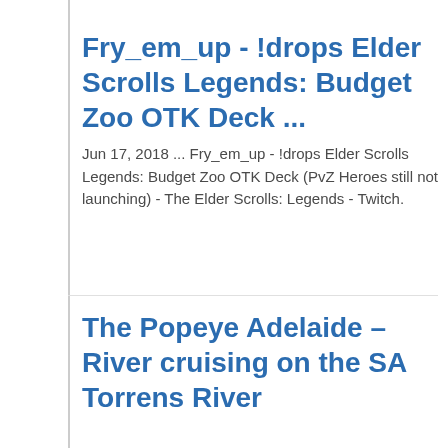Fry_em_up - !drops Elder Scrolls Legends: Budget Zoo OTK Deck ...
Jun 17, 2018 ... Fry_em_up - !drops Elder Scrolls Legends: Budget Zoo OTK Deck (PvZ Heroes still not launching) - The Elder Scrolls: Legends - Twitch.
The Popeye Adelaide – River cruising on the SA Torrens River